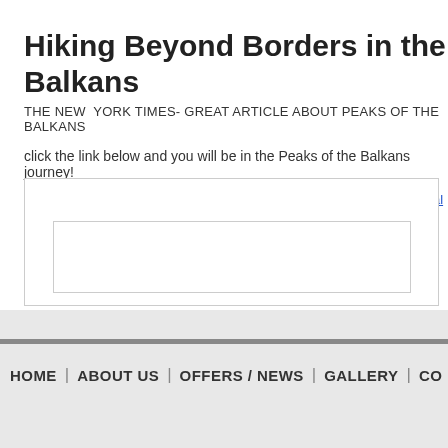Hiking Beyond Borders in the Balkans
THE NEW YORK TIMES- GREAT ARTICLE ABOUT PEAKS OF THE BALKANS
click the link below and you will be in the Peaks of the Balkans journey!
http://travel.nytimes.com/2013/03/31/travel/balkan-promises-hiking-the-albanian-alps.htm...
[Figure (screenshot): Embedded browser frame with an inner white rectangle, representing an embedded web content area]
HOME | ABOUT US | OFFERS / NEWS | GALLERY | CO...